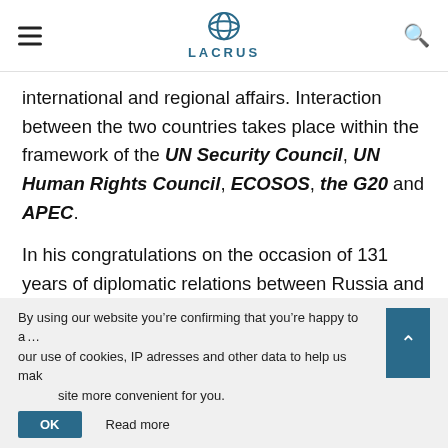LACRUS
international and regional affairs. Interaction between the two countries takes place within the framework of the UN Security Council, UN Human Rights Council, ECOSOS, the G20 and APEC.
In his congratulations on the occasion of 131 years of diplomatic relations between Russia and Mexico, Sergey Lavrov noted that the path traversed by the two countries "is an example of peaceful cooperation between states situated on diff...
By using our website you're confirming that you're happy to accept our use of cookies, IP adresses and other data to help us make the site more convenient for you.